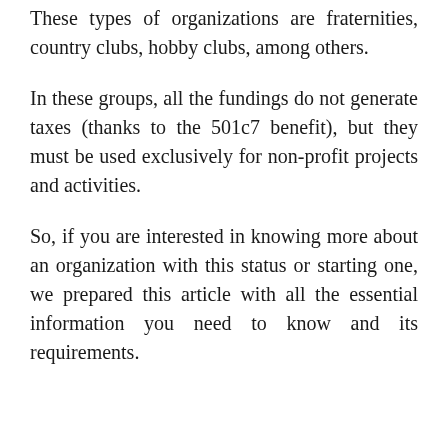These types of organizations are fraternities, country clubs, hobby clubs, among others.
In these groups, all the fundings do not generate taxes (thanks to the 501c7 benefit), but they must be used exclusively for non-profit projects and activities.
So, if you are interested in knowing more about an organization with this status or starting one, we prepared this article with all the essential information you need to know and its requirements.